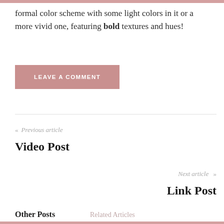formal color scheme with some light colors in it or a more vivid one, featuring bold textures and hues!
LEAVE A COMMENT
« Previous article
Video Post
Next article »
Link Post
Other Posts
Related Articles